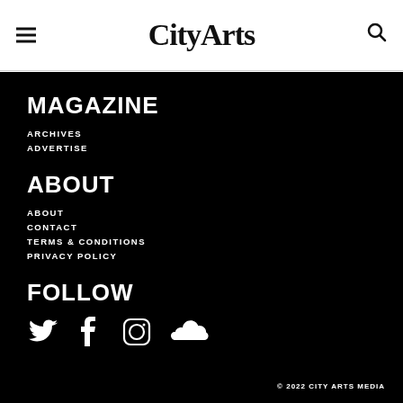CityArts
MAGAZINE
ARCHIVES
ADVERTISE
ABOUT
ABOUT
CONTACT
TERMS & CONDITIONS
PRIVACY POLICY
FOLLOW
[Figure (illustration): Social media icons: Twitter bird, Facebook f, Instagram camera, SoundCloud logo]
© 2022 CITY ARTS MEDIA